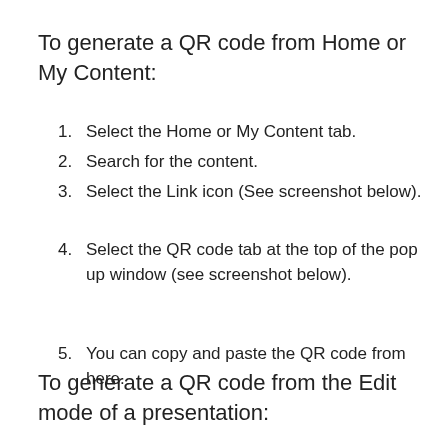To generate a QR code from Home or My Content:
1. Select the Home or My Content tab.
2. Search for the content.
3. Select the Link icon (See screenshot below).
4. Select the QR code tab at the top of the pop up window (see screenshot below).
5. You can copy and paste the QR code from here.
To generate a QR code from the Edit mode of a presentation: